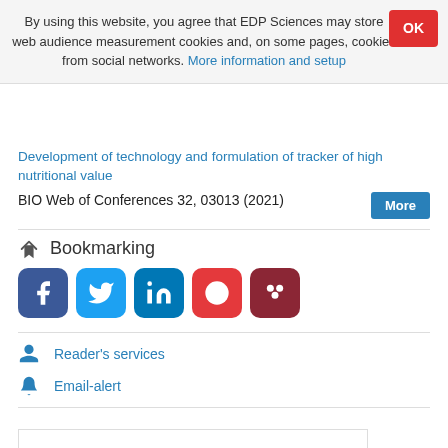By using this website, you agree that EDP Sciences may store web audience measurement cookies and, on some pages, cookies from social networks. More information and setup
Development of technology and formulation of tracker of high nutritional value
BIO Web of Conferences 32, 03013 (2021)
Bookmarking
[Figure (other): Social media bookmarking buttons: Facebook, Twitter, LinkedIn, Weibo, Mendeley]
Reader's services
Email-alert